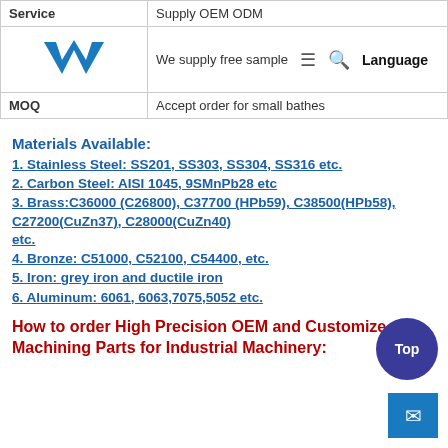| Service | Supply OEM ODM |
| --- | --- |
| (logo) | We supply free sample  ☰  🔍  Language |
| MOQ | Accept order for small bathes |
Materials Available:
1. Stainless Steel: SS201, SS303, SS304, SS316 etc.
2. Carbon Steel: AISI 1045, 9SMnPb28 etc
3. Brass:C36000 (C26800), C37700 (HPb59), C38500(HPb58), C27200(CuZn37), C28000(CuZn40) etc.
4. Bronze: C51000, C52100, C54400, etc.
5. Iron: grey iron and ductile iron
6. Aluminum: 6061, 6063,7075,5052 etc.
How to order High Precision OEM and Customized Machining Parts for Industrial Machinery: